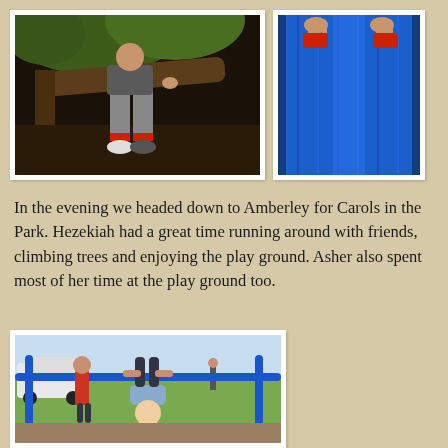[Figure (photo): Child sitting on a tree branch with legs dangling, wearing grey pants and sneakers, outdoors among greenery]
[Figure (photo): Blue playground slide with a child's hands visible at the top]
In the evening we headed down to Amberley for Carols in the Park. Hezekiah had a great time running around with friends, climbing trees and enjoying the play ground. Asher also spent most of her time at the play ground too.
[Figure (photo): Children playing on blue playground equipment in a park setting, with a car and other people visible in the background]